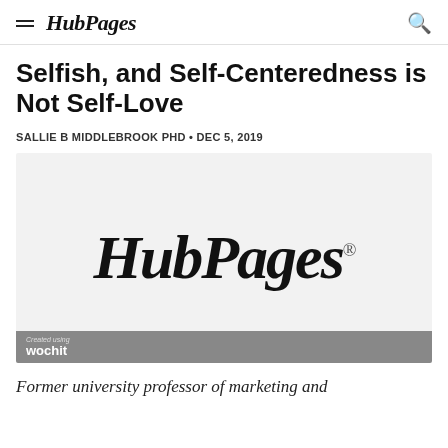HubPages
Selfish, and Self-Centeredness is Not Self-Love
SALLIE B MIDDLEBROOK PHD • DEC 5, 2019
[Figure (logo): HubPages logo displayed large on a light gray background with a 'Created using Wochit' bar at the bottom]
Former university professor of marketing and